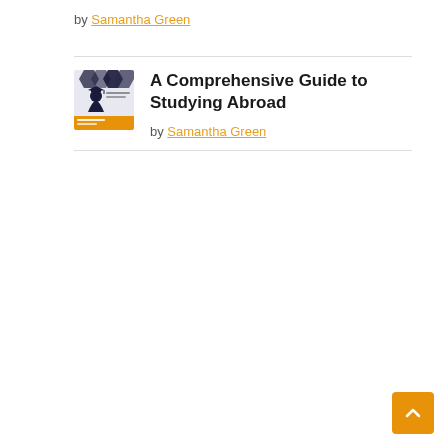by Samantha Green
[Figure (illustration): Thumbnail image for the article 'A Comprehensive Guide to Studying Abroad' showing a student with graduation cap and text about studying abroad, foreign education]
A Comprehensive Guide to Studying Abroad
by Samantha Green